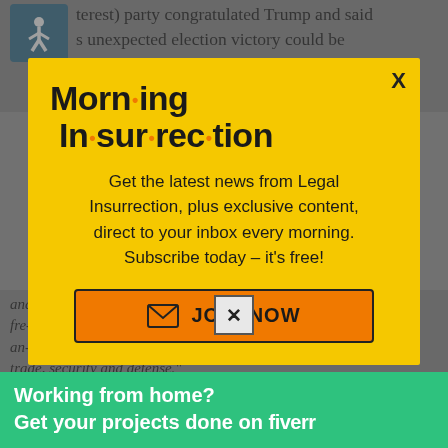terest) party congratulated Trump and said s unexpected election victory could be repeated in Europe. Party chairman Tom Van Grieken tweeted: “U.S. election shows again
[Figure (screenshot): Morning Insurrection email newsletter popup modal with yellow background. Title reads 'Morn·ing In·sur·rec·tion' in bold with orange dots. Subtitle: 'Get the latest news from Legal Insurrection, plus exclusive content, direct to your inbox every morning. Subscribe today – it’s free!' with orange JOIN NOW button.]
and special relationship ed on the values of fre- an- trade, security and defense."
[Figure (screenshot): Fiverr green banner advertisement: 'Working from home? Get your projects done on fiverr']